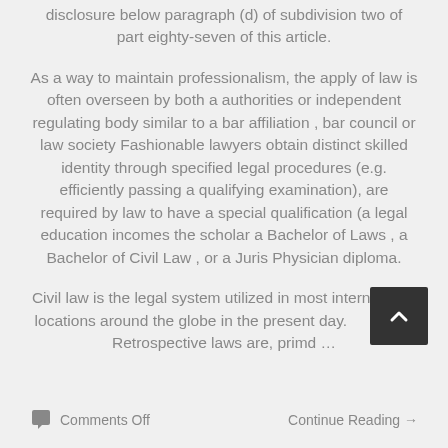disclosure below paragraph (d) of subdivision two of part eighty-seven of this article.
As a way to maintain professionalism, the apply of law is often overseen by both a authorities or independent regulating body similar to a bar affiliation , bar council or law society Fashionable lawyers obtain distinct skilled identity through specified legal procedures (e.g. efficiently passing a qualifying examination), are required by law to have a special qualification (a legal education incomes the scholar a Bachelor of Laws , a Bachelor of Civil Law , or a Juris Physician diploma.
Civil law is the legal system utilized in most international locations around the globe in the present day. Retrospective laws are, primd …
Comments Off    Continue Reading →